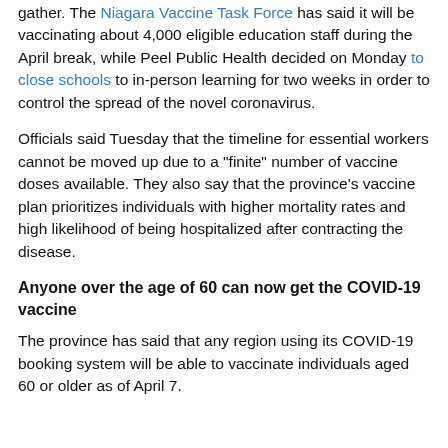gather. The Niagara Vaccine Task Force has said it will be vaccinating about 4,000 eligible education staff during the April break, while Peel Public Health decided on Monday to close schools to in-person learning for two weeks in order to control the spread of the novel coronavirus.
Officials said Tuesday that the timeline for essential workers cannot be moved up due to a "finite" number of vaccine doses available. They also say that the province's vaccine plan prioritizes individuals with higher mortality rates and high likelihood of being hospitalized after contracting the disease.
Anyone over the age of 60 can now get the COVID-19 vaccine
The province has said that any region using its COVID-19 booking system will be able to vaccinate individuals aged 60 or older as of April 7.